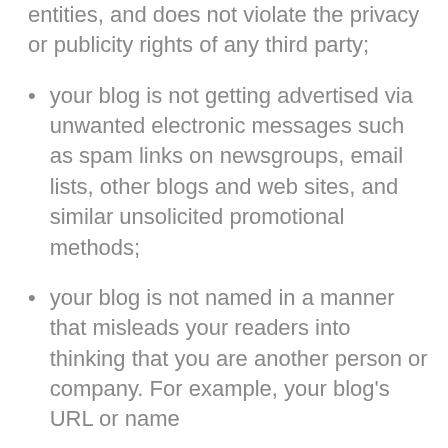entities, and does not violate the privacy or publicity rights of any third party;
your blog is not getting advertised via unwanted electronic messages such as spam links on newsgroups, email lists, other blogs and web sites, and similar unsolicited promotional methods;
your blog is not named in a manner that misleads your readers into thinking that you are another person or company. For example, your blog's URL or name